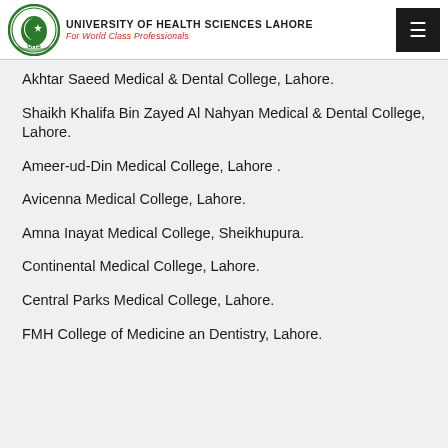UNIVERSITY OF HEALTH SCIENCES LAHORE — For World Class Professionals
Akhtar Saeed Medical & Dental College, Lahore.
Shaikh Khalifa Bin Zayed Al Nahyan Medical & Dental College, Lahore.
Ameer-ud-Din Medical College, Lahore .
Avicenna Medical College, Lahore.
Amna Inayat Medical College, Sheikhupura.
Continental Medical College, Lahore.
Central Parks Medical College, Lahore.
FMH College of Medicine an Dentistry, Lahore.